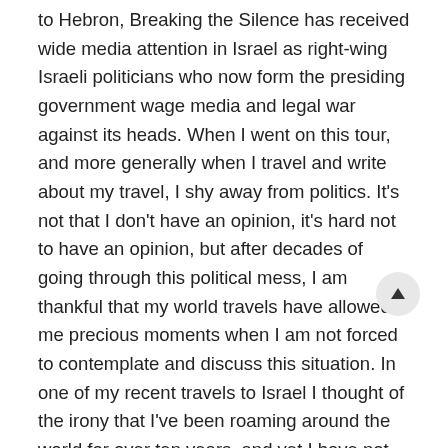to Hebron, Breaking the Silence has received wide media attention in Israel as right-wing Israeli politicians who now form the presiding government wage media and legal war against its heads. When I went on this tour, and more generally when I travel and write about my travel, I shy away from politics. It's not that I don't have an opinion, it's hard not to have an opinion, but after decades of going through this political mess, I am thankful that my world travels have allowed me precious moments when I am not forced to contemplate and discuss this situation. In one of my recent travels to Israel I thought of the irony that I've been roaming around the world for over ten years, and yet I have not taken the time to cross the invisible border from Israel to the West Bank to try and see things for myself. There were always excuses, but the bottom line fact was that I have not been to the Palestinian territories while almost every one of my international friends visiting Israel included that on the tour. Since I can't just travel the Palestinian territories as a regular tourist, I looked for a different approach, and this is when someone offered I join a tour by Breaking the Silence. Up till